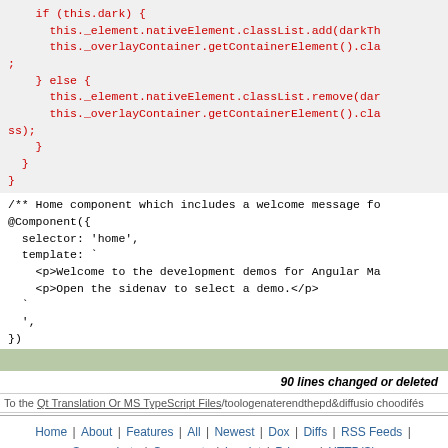if (this.dark) {
    this._element.nativeElement.classList.add(darkTh
    this._overlayContainer.getContainerElement().cla
;
} else {
    this._element.nativeElement.classList.remove(dar
    this._overlayContainer.getContainerElement().cla
ss);
  }
}
}
/** Home component which includes a welcome message fo
@Component({
  selector: 'home',
  template: `
    <p>Welcome to the development demos for Angular Ma
    <p>Open the sidenav to select a demo.</p>
  `
  ',
})
90 lines changed or deleted
To the Qt Translation Or MS TypeScript Files/toologenaterendthepd&diffusio choodifés
Home | About | Features | All | Newest | Dox | Diffs | RSS Feeds | Screenshots | Comments | Imprint | Privacy | HTTP(S)